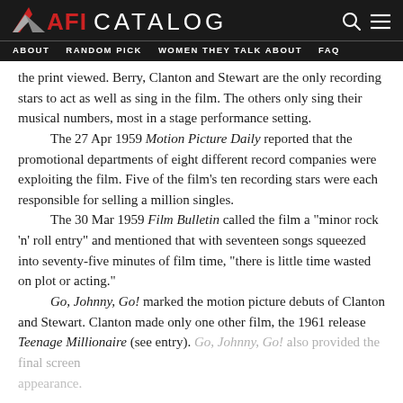AFI CATALOG | ABOUT | RANDOM PICK | WOMEN THEY TALK ABOUT | FAQ
the print viewed. Berry, Clanton and Stewart are the only recording stars to act as well as sing in the film. The others only sing their musical numbers, most in a stage performance setting.

The 27 Apr 1959 Motion Picture Daily reported that the promotional departments of eight different record companies were exploiting the film. Five of the film's ten recording stars were each responsible for selling a million singles.

The 30 Mar 1959 Film Bulletin called the film a "minor rock 'n' roll entry" and mentioned that with seventeen songs squeezed into seventy-five minutes of film time, "there is little time wasted on plot or acting."

Go, Johnny, Go! marked the motion picture debuts of Clanton and Stewart. Clanton made only one other film, the 1961 release Teenage Millionaire (see entry). Go, Johnny, Go! also provided the final screen appearance.